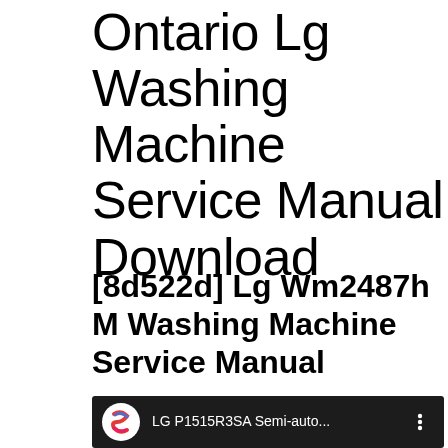Ontario Lg Washing Machine Service Manual Download
[8d522d] Lg Wm2487h M Washing Machine Service Manual
[Figure (screenshot): Video thumbnail showing a YouTube-style player bar with a circular logo (red, blue, pink gradient 'S' icon) and text 'LG P1515R3SA Semi-auto...' with a three-dot menu icon on a dark background]